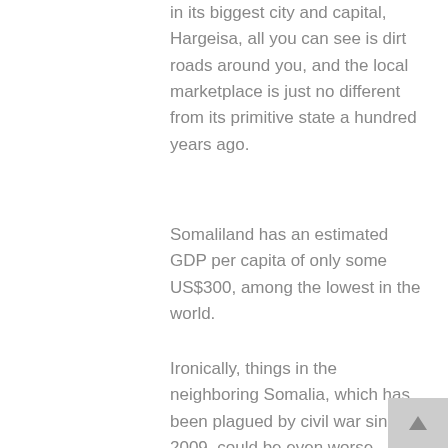in its biggest city and capital, Hargeisa, all you can see is dirt roads around you, and the local marketplace is just no different from its primitive state a hundred years ago.
Somaliland has an estimated GDP per capita of only some US$300, among the lowest in the world.
Ironically, things in the neighboring Somalia, which has been plagued by civil war since 2009, could be even worse.
As a matter of fact, over the years there has been some degree of sympathy towards Somaliland among the international community, not least because of the fact that the tiny self-declared state has remained